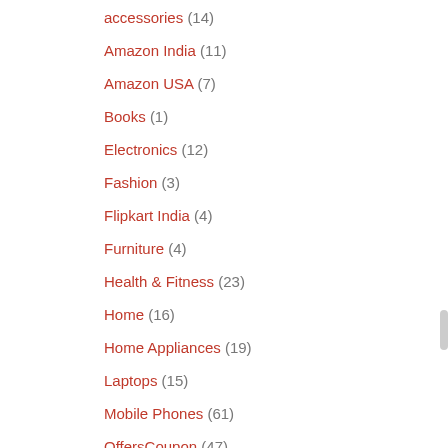accessories (14)
Amazon India (11)
Amazon USA (7)
Books (1)
Electronics (12)
Fashion (3)
Flipkart India (4)
Furniture (4)
Health & Fitness (23)
Home (16)
Home Appliances (19)
Laptops (15)
Mobile Phones (61)
OffersCoupon (47)
Office (?)